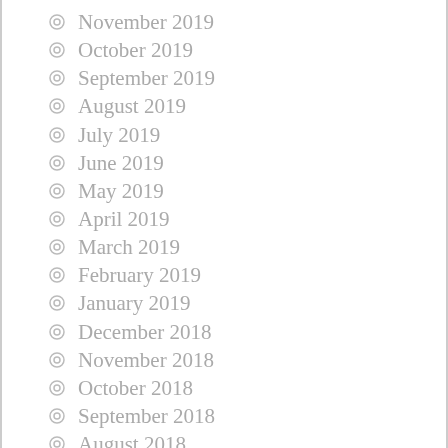November 2019
October 2019
September 2019
August 2019
July 2019
June 2019
May 2019
April 2019
March 2019
February 2019
January 2019
December 2018
November 2018
October 2018
September 2018
August 2018
July 2018
June 2018